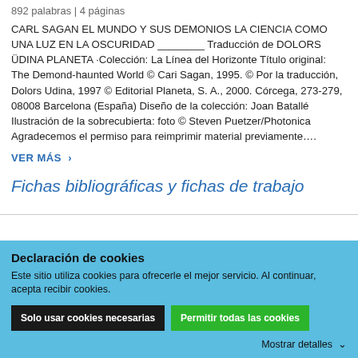892 palabras | 4 páginas
CARL SAGAN EL MUNDO Y SUS DEMONIOS LA CIENCIA COMO UNA LUZ EN LA OSCURIDAD ________ Traducción de DOLORS ÜDINA PLANETA ·Colección: La Línea del Horizonte Título original: The Demond-haunted World © Cari Sagan, 1995. © Por la traducción, Dolors Udina, 1997 © Editorial Planeta, S. A., 2000. Córcega, 273-279, 08008 Barcelona (España) Diseño de la colección: Joan Batallé Ilustración de la sobrecubierta: foto © Steven Puetzer/Photonica Agradecemos el permiso para reimprimir material previamente….
VER MÁS  ›
Fichas bibliográficas y fichas de trabajo
...
Declaración de cookies
Este sitio utiliza cookies para ofrecerle el mejor servicio. Al continuar, acepta recibir cookies.
Solo usar cookies necesarias   Permitir todas las cookies
Mostrar detalles  ›